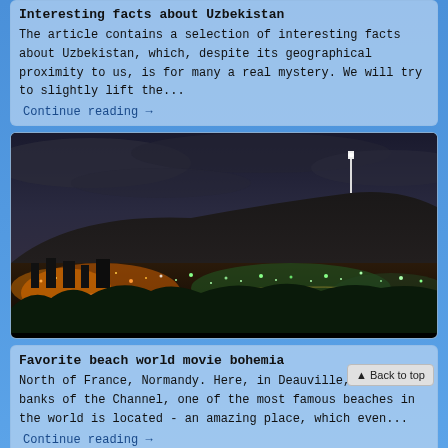Interesting facts about Uzbekistan
The article contains a selection of interesting facts about Uzbekistan, which, despite its geographical proximity to us, is for many a real mystery. We will try to slightly lift the...
Continue reading →
[Figure (photo): Night cityscape with a large hill/mountain in the background topped with a white tower/antenna, city lights in the foreground]
Favorite beach world movie bohemia
North of France, Normandy. Here, in Deauville, on the banks of the Channel, one of the most famous beaches in the world is located - an amazing place, which even...
Continue reading →
Top 5 cities that prove the future is here
There are cities in the world that seem to have disappeared from the pages of fantastic books. Space skyscra... amazing technologies, a dynamic rhythm of life... think that...